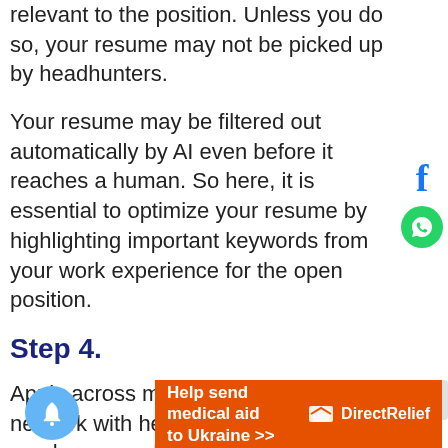relevant to the position. Unless you do so, your resume may not be picked up by headhunters.
Your resume may be filtered out automatically by AI even before it reaches a human. So here, it is essential to optimize your resume by highlighting important keywords from your work experience for the open position.
Step 4.
Apply across multiple channels and network with head hunters or employees on LinkedIn. See if anyone can put in a
[Figure (other): Facebook icon - blue letter f on white background]
[Figure (other): WhatsApp icon - white phone on green circle]
[Figure (other): Orange advertisement banner: Help send medical aid to Ukraine >> with Direct Relief logo]
[Figure (other): Blue notification bell button]